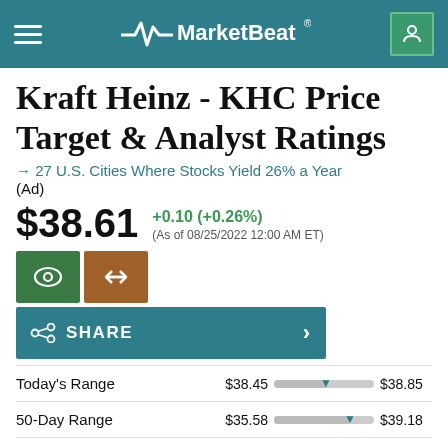MarketBeat
Kraft Heinz - KHC Price Target & Analyst Ratings
→ 27 U.S. Cities Where Stocks Yield 26% a Year (Ad)
$38.61 +0.10 (+0.26%) (As of 08/25/2022 12:00 AM ET)
SHARE
| Range | Low | Bar | High |
| --- | --- | --- | --- |
| Today's Range | $38.45 |  | $38.85 |
| 50-Day Range | $35.58 |  | $39.18 |
| 52 Week Range | $29.79 |  | $44.87 |